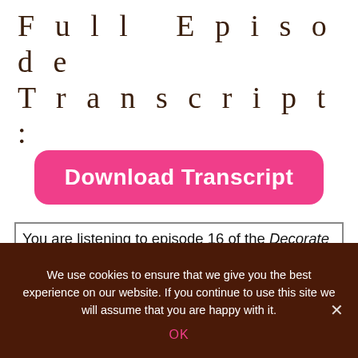Full Episode Transcript:
[Figure (other): Pink rounded button with white bold text: Download Transcript]
You are listening to episode 16 of the Decorate Like a Design Boss podcast. And this week we'll be discussing open concept floor plans. These floor plans are currently all the rage but they can be difficult to decorate. But after today you'll have more tools in your toolbox for handling this type of project. So, grab that pen and paper if you aren't driving
We use cookies to ensure that we give you the best experience on our website. If you continue to use this site we will assume that you are happy with it.
OK